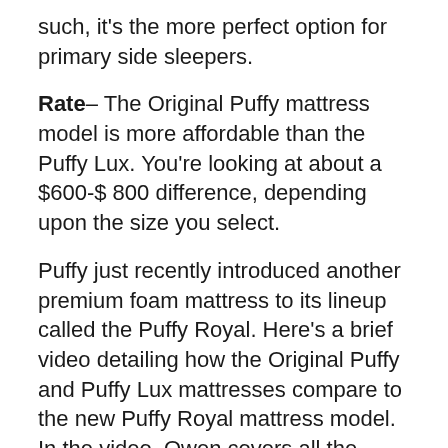such, it's the more perfect option for primary side sleepers.
Rate– The Original Puffy mattress model is more affordable than the Puffy Lux. You're looking at about a $600-$ 800 difference, depending upon the size you select.
Puffy just recently introduced another premium foam mattress to its lineup called the Puffy Royal. Here's a brief video detailing how the Original Puffy and Puffy Lux mattresses compare to the new Puffy Royal mattress model. In the video, Owen covers all the major differences between the three beds so you can find out which one is right for you.